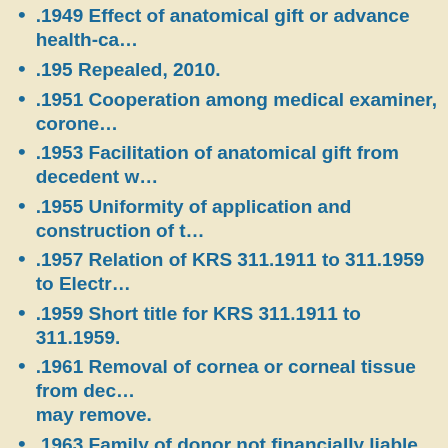.1949 Effect of anatomical gift or advance health-ca…
.195 Repealed, 2010.
.1951 Cooperation among medical examiner, corone…
.1953 Facilitation of anatomical gift from decedent w…
.1955 Uniformity of application and construction of t…
.1957 Relation of KRS 311.1911 to 311.1959 to Electr…
.1959 Short title for KRS 311.1911 to 311.1959.
.1961 Removal of cornea or corneal tissue from dec… may remove.
.1963 Family of donor not financially liable for cost o…
.200 Repealed, 1950.
.205 Repealed, 2010.
.210 Repealed, 1950.
.215 Repealed, 2010.